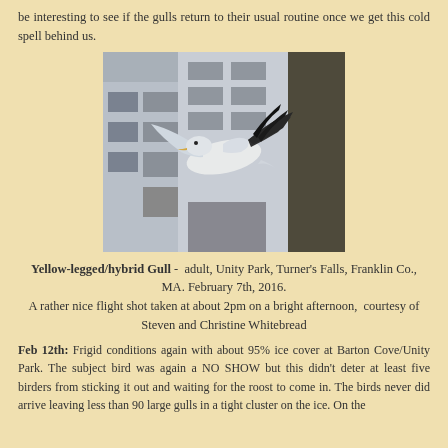be interesting to see if the gulls return to their usual routine once we get this cold spell behind us.
[Figure (photo): A Yellow-legged/hybrid Gull in flight against a blurred building background, wings outstretched, photographed at Unity Park, Turner's Falls, Franklin Co., MA on February 7th, 2016.]
Yellow-legged/hybrid Gull - adult, Unity Park, Turner's Falls, Franklin Co., MA. February 7th, 2016.
A rather nice flight shot taken at about 2pm on a bright afternoon, courtesy of Steven and Christine Whitebread
Feb 12th: Frigid conditions again with about 95% ice cover at Barton Cove/Unity Park. The subject bird was again a NO SHOW but this didn't deter at least five birders from sticking it out and waiting for the roost to come in. The birds never did arrive leaving less than 90 large gulls in a tight cluster on the ice. On the